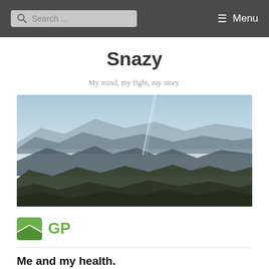Search ... Menu
Snazy
My mind, my fight, my story.
[Figure (photo): Panoramic landscape photo of misty mountain ranges with layered blue-grey ridges, fog in the valleys, and sunlight rays visible in the sky.]
[Figure (logo): GeneratePress GP logo - green leaf/bookmark icon with GP text in green]
Me and my health.